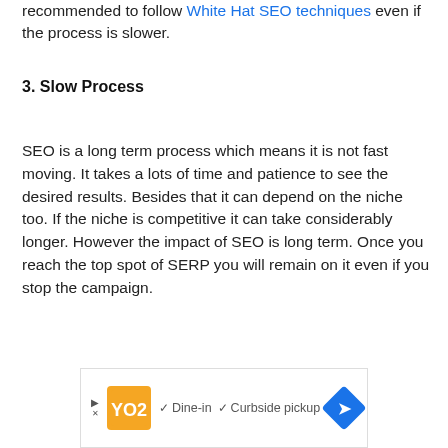recommended to follow White Hat SEO techniques even if the process is slower.
3. Slow Process
SEO is a long term process which means it is not fast moving. It takes a lots of time and patience to see the desired results. Besides that it can depend on the niche too. If the niche is competitive it can take considerably longer. However the impact of SEO is long term. Once you reach the top spot of SERP you will remain on it even if you stop the campaign.
[Figure (other): Advertisement banner for a restaurant showing Dine-in and Curbside pickup checkmarks with a logo and navigation arrow]